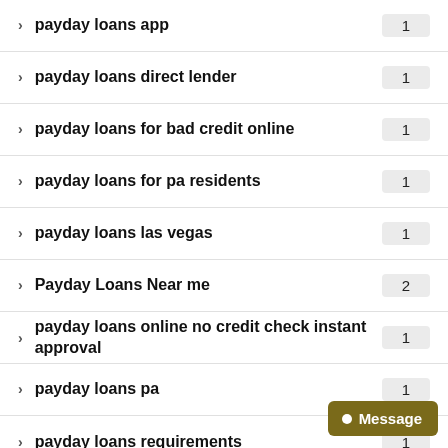payday loans app
payday loans direct lender
payday loans for bad credit online
payday loans for pa residents
payday loans las vegas
Payday Loans Near me
payday loans online no credit check instant approval
payday loans pa
payday loans requirements